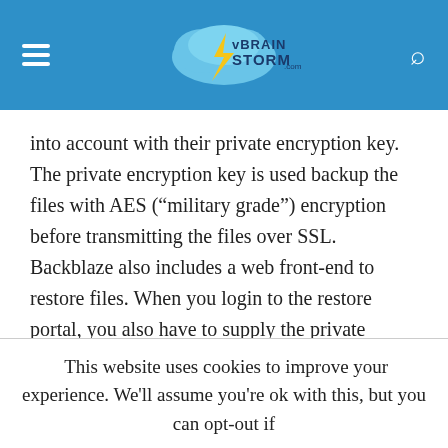vBrainStorm.com
into account with their private encryption key. The private encryption key is used backup the files with AES (“military grade”) encryption before transmitting the files over SSL. Backblaze also includes a web front-end to restore files. When you login to the restore portal, you also have to supply the private encryption key to view the files available for restore.
This website uses cookies to improve your experience. We'll assume you're ok with this, but you can opt-out if